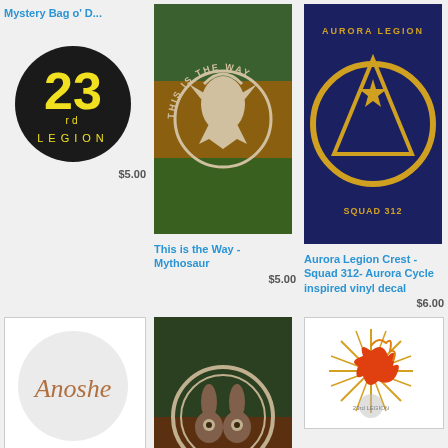[Figure (photo): 23rd Legion logo - black circle with yellow 23rd text and Legion written below]
$5.00
[Figure (photo): Anoshe cursive text on light grey circle background]
Anoshe - A Darker Shade of Magic inspired vinyl decal
$4.00
[Figure (photo): Skull glowing blue on dark background with 23rd Legion logo]
[Figure (photo): This is the Way - Mythosaur Mandalorian symbol on rasta colored background]
This is the Way - Mythosaur
$5.00
[Figure (photo): Nite Owls crest symbol white circle on dark brown/green background]
Nite Owls crest
$5.00
[Figure (photo): Aurora Legion Crest Squad 312 yellow emblem on dark blue background]
Aurora Legion Crest - Squad 312- Aurora Cycle inspired vinyl decal
$6.00
[Figure (photo): Phoenix fire bird orange and red on gold starburst background with 23rd Legion watermark]